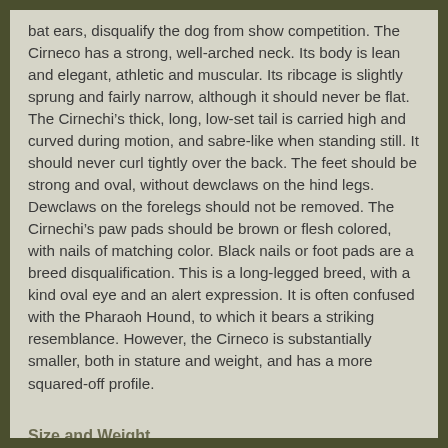bat ears, disqualify the dog from show competition. The Cirneco has a strong, well-arched neck. Its body is lean and elegant, athletic and muscular. Its ribcage is slightly sprung and fairly narrow, although it should never be flat. The Cirnechi's thick, long, low-set tail is carried high and curved during motion, and sabre-like when standing still. It should never curl tightly over the back. The feet should be strong and oval, without dewclaws on the hind legs. Dewclaws on the forelegs should not be removed. The Cirnechi's paw pads should be brown or flesh colored, with nails of matching color. Black nails or foot pads are a breed disqualification. This is a long-legged breed, with a kind oval eye and an alert expression. It is often confused with the Pharaoh Hound, to which it bears a striking resemblance. However, the Cirneco is substantially smaller, both in stature and weight, and has a more squared-off profile.
Size and Weight